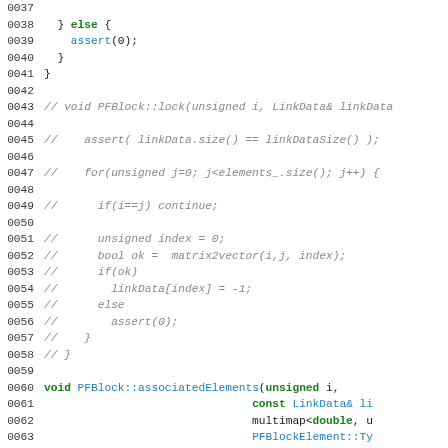[Figure (screenshot): Source code listing in C++ showing commented-out PFBlock::lock method and beginning of PFBlock::associatedElements method, with line numbers 0037-0066, displayed with syntax highlighting (green for keywords/comments, blue for identifiers, dark for plain code)]